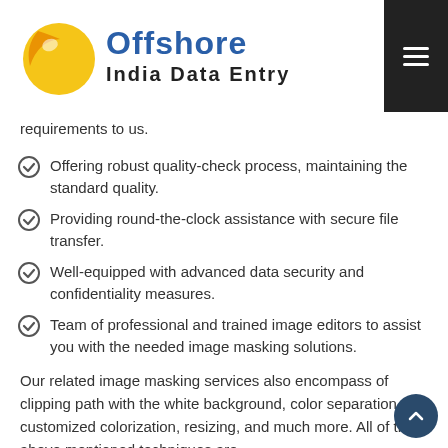Offshore India Data Entry
requirements to us.
Offering robust quality-check process, maintaining the standard quality.
Providing round-the-clock assistance with secure file transfer.
Well-equipped with advanced data security and confidentiality measures.
Team of professional and trained image editors to assist you with the needed image masking solutions.
Our related image masking services also encompass of clipping path with the white background, color separation, customized colorization, resizing, and much more. All of the above mentioned techniques are